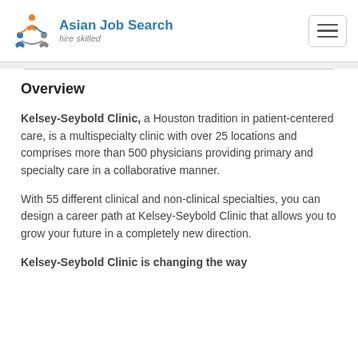[Figure (logo): Asian Job Search logo with colorful figures icon, blue text 'Asian Job Search' and gray italic 'hire skilled']
Overview
Kelsey-Seybold Clinic, a Houston tradition in patient-centered care, is a multispecialty clinic with over 25 locations and comprises more than 500 physicians providing primary and specialty care in a collaborative manner.
With 55 different clinical and non-clinical specialties, you can design a career path at Kelsey-Seybold Clinic that allows you to grow your future in a completely new direction.
Kelsey-Seybold Clinic is changing the way